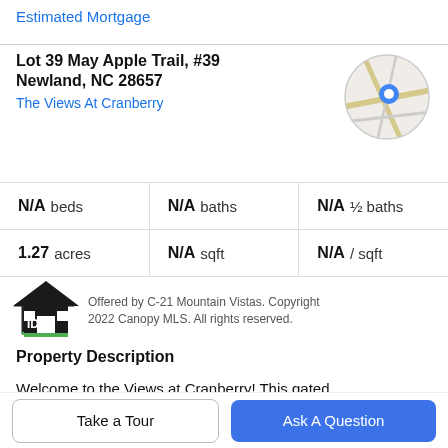Estimated Mortgage
Lot 39 May Apple Trail, #39
Newland, NC 28657
The Views At Cranberry
[Figure (map): Circular map thumbnail showing a location pin marker on a road map]
|  |  |  |
| --- | --- | --- |
| N/A beds | N/A baths | N/A ½ baths |
| 1.27 acres | N/A sqft | N/A / sqft |
[Figure (logo): IDX house logo icon in black with green accent]
Offered by C-21 Mountain Vistas. Copyright 2022 Canopy MLS. All rights reserved.
Property Description
Welcome to the Views at Cranberry! This gated community of small acreage and home sites are tucked between conservation and forestry land in the North
Take a Tour
Ask A Question